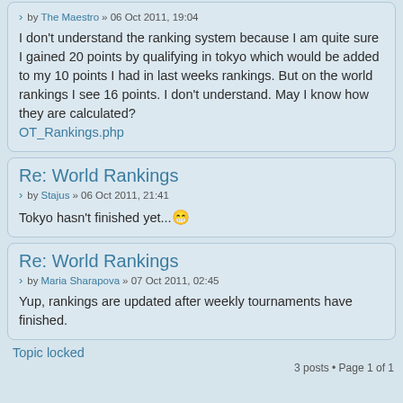by The Maestro » 06 Oct 2011, 19:04
I don't understand the ranking system because I am quite sure I gained 20 points by qualifying in tokyo which would be added to my 10 points I had in last weeks rankings. But on the world rankings I see 16 points. I don't understand. May I know how they are calculated?
OT_Rankings.php
Re: World Rankings
by Stajus » 06 Oct 2011, 21:41
Tokyo hasn't finished yet...😁
Re: World Rankings
by Maria Sharapova » 07 Oct 2011, 02:45
Yup, rankings are updated after weekly tournaments have finished.
Topic locked
3 posts • Page 1 of 1